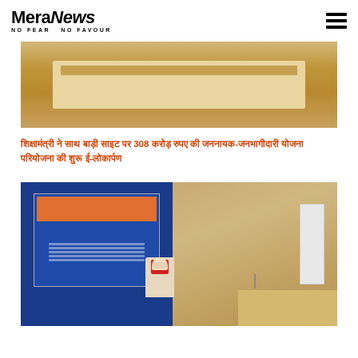MeraNews NO FEAR NO FAVOUR
[Figure (photo): Top partial photo showing a conference room desk scene with wooden paneling background]
शिक्षामंत्री ने साथ बाड़ी साइट पर 308 करोड़ रुपए की जननायक-जनभागीदारी योजना परियोजना की शुरू ई-लोकार्पण
[Figure (photo): Photo of a government official wearing a white mask and red vest sitting at a desk in front of a blue banner/backdrop with Hindi text and images, in a conference room with wooden paneling and a white door visible]